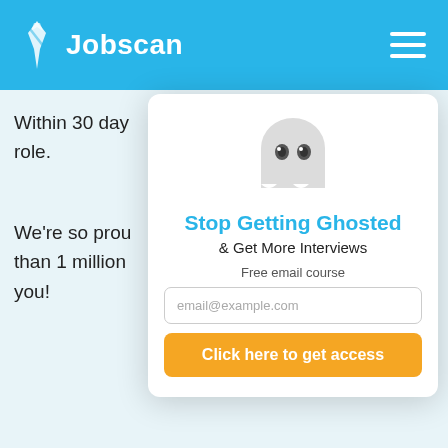Jobscan
Within 30 day role.
We're so prou than 1 million you!
[Figure (illustration): Ghost emoji illustration — a white friendly ghost with two dark eyes]
Stop Getting Ghosted
& Get More Interviews
Free email course
email@example.com
Click here to get access